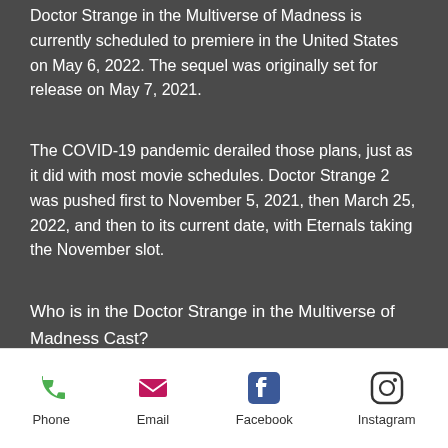Doctor Strange in the Multiverse of Madness is currently scheduled to premiere in the United States on May 6, 2022. The sequel was originally set for release on May 7, 2021.
The COVID-19 pandemic derailed those plans, just as it did with most movie schedules. Doctor Strange 2 was pushed first to November 5, 2021, then March 25, 2022, and then to its current date, with Eternals taking the November slot.
Who is in the Doctor Strange in the Multiverse of Madness Cast?
Phone | Email | Facebook | Instagram